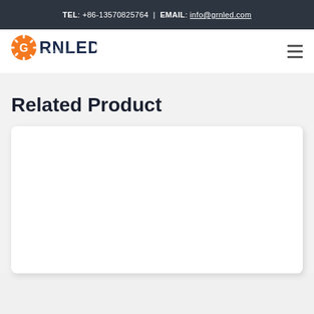TEL: +86-13570825764  |  EMAIL: info@grnled.com
[Figure (logo): GRNLED company logo with orange sun/rays graphic and blue-gray letter G, followed by RNLED in dark blue]
Related Product
[Figure (photo): White product card placeholder area, empty white rectangle with rounded corners and subtle shadow]